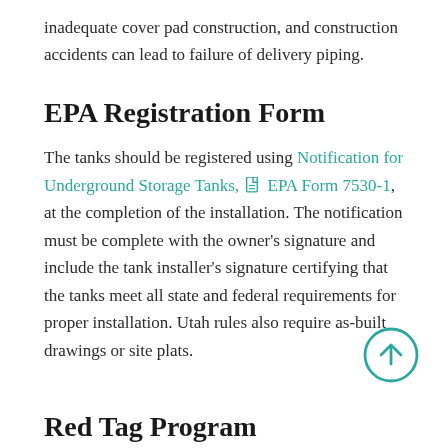inadequate cover pad construction, and construction accidents can lead to failure of delivery piping.
EPA Registration Form
The tanks should be registered using Notification for Underground Storage Tanks, EPA Form 7530-1, at the completion of the installation. The notification must be complete with the owner's signature and include the tank installer's signature certifying that the tanks meet all state and federal requirements for proper installation. Utah rules also require as-built drawings or site plats.
Red Tag Program